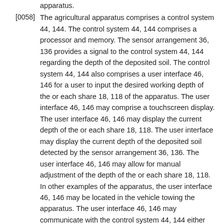apparatus.
[0058] The agricultural apparatus comprises a control system 44, 144. The control system 44, 144 comprises a processor and memory. The sensor arrangement 36, 136 provides a signal to the control system 44, 144 regarding the depth of the deposited soil. The control system 44, 144 also comprises a user interface 46, 146 for a user to input the desired working depth of the or each share 18, 118 of the apparatus. The user interface 46, 146 may comprise a touchscreen display. The user interface 46, 146 may display the current depth of the or each share 18, 118. The user interface may display the current depth of the deposited soil detected by the sensor arrangement 36, 136. The user interface 46, 146 may allow for manual adjustment of the depth of the or each share 18, 118. In other examples of the apparatus, the user interface 46, 146 may be located in the vehicle towing the apparatus. The user interface 46, 146 may communicate with the control system 44, 144 either through a wired connection or wirelessly, for example via a